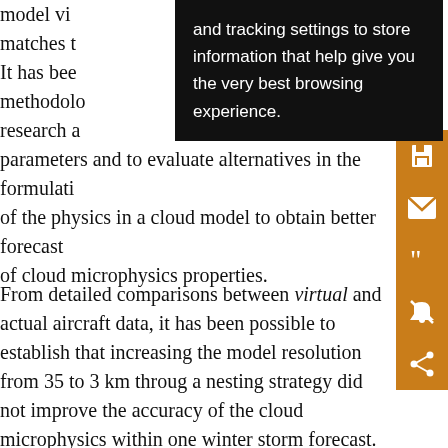model vi... matches t... time. It has been... posed methodolo... of research a... parameters and to evaluate alternatives in the formulation of the physics in a cloud model to obtain better forecasts of cloud microphysics properties.
From detailed comparisons between virtual and actual aircraft data, it has been possible to establish that increasing the model resolution from 35 to 3 km through a nesting strategy did not improve the accuracy of the cloud microphysics within one winter storm forecast. This suggests that for improvements in forecasts, the cloud model itself should be examined instead of attempting an increase in resolution. Although it was felt that the